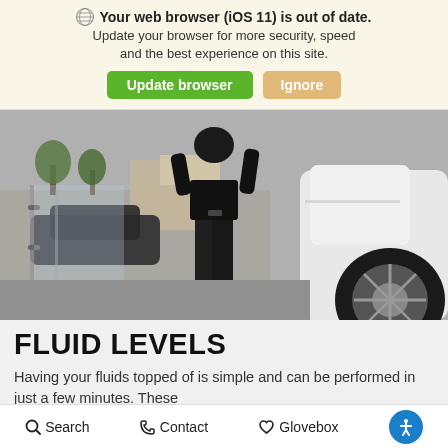Your web browser (iOS 11) is out of date. Update your browser for more security, speed and the best experience on this site. [Update browser] [Ignore]
[Figure (photo): A person in dark clothing standing next to a white car in what appears to be a parking lot or dealership, viewed from behind/side. A glass storefront and other cars are visible in the background.]
FLUID LEVELS
Having your fluids topped of is simple and can be performed in just a few minutes. These
Search   Contact   Glovebox   [accessibility icon]